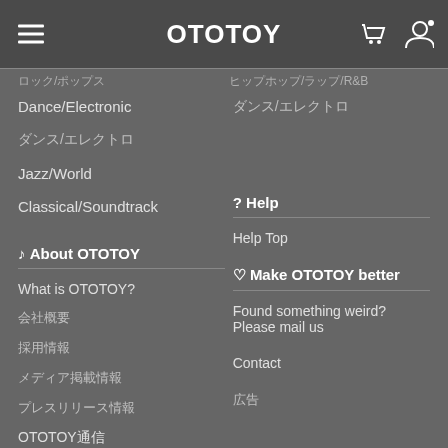OTOTOY
Dance/Electronic
ダンス/エレクトロニック
Jazz/World
Classical/Soundtrack
♪ About OTOTOY
? Help
What is OTOTOY?
Help Top
会社概要
採用情報
♡ Make OTOTOY better
メディア掲載情報
プレスリリース情報
Found something weird? Please mail us
OTOTOY通信
コンテンツプロバイダー
Contact
Our Team
Careers
広告